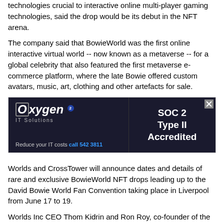technologies crucial to interactive online multi-player gaming technologies, said the drop would be its debut in the NFT arena.
The company said that BowieWorld was the first online interactive virtual world -- now known as a metaverse -- for a global celebrity that also featured the first metaverse e-commerce platform, where the late Bowie offered custom avatars, music, art, clothing and other artefacts for sale.
[Figure (other): Advertisement for Oxygen IT Solutions. Left side shows the Oxygen logo with 'IT Solutions' subtitle and tagline 'Reduce your IT costs call 542 3811'. Right side shows 'SOC 2 Type II Accredited' in bold white text on dark background. Close button (X) in top right corner.]
Worlds and CrossTower will announce dates and details of rare and exclusive BowieWorld NFT drops leading up to the David Bowie World Fan Convention taking place in Liverpool from June 17 to 19.
Worlds Inc CEO Thom Kidrin and Ron Roy, co-founder of the pioneering internet fan club experience UltraStar with Bowie, will present “The BowieWorld Odyssey” at the Bowie convention.
There, they will discuss their collaboration with Bowie and his son, film-maker Duncan Jones, to execute visionary concepts and create the technologies that significantly raised the bar for